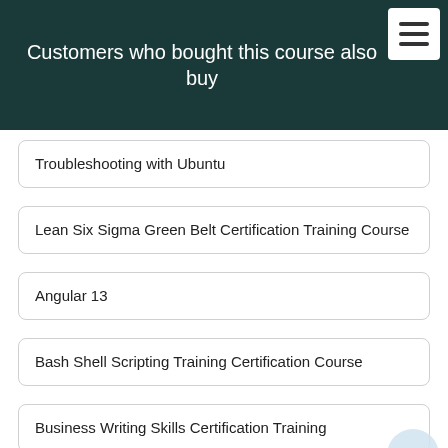Customers who bought this course also buy
Troubleshooting with Ubuntu
Lean Six Sigma Green Belt Certification Training Course
Angular 13
Bash Shell Scripting Training Certification Course
Business Writing Skills Certification Training
C++ Training and Certification Course